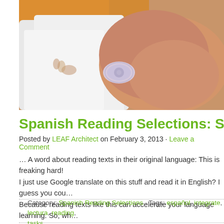[Figure (photo): Close-up photo of a sleeping baby with a pacifier, wrapped in white cloth with orange blanket visible]
Spanish Reading Selections: SIDS (SM…
Posted by LEAF Architect on February 3, 2013 · Leave a Comment
… A word about reading texts in their original language: This is freaking hard! I just use Google translate on this stuff and read it in English? I guess you cou… Because reading texts like this can accelerate your language learning. So, wh…
Category: Spanish Reading Selections · Tags: español, integrate, lectura, reading, tasks